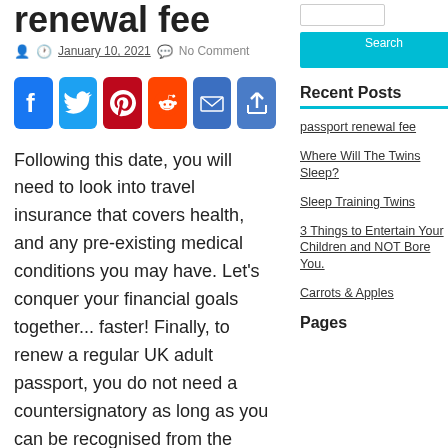renewal fee
January 10, 2021   No Comment
[Figure (other): Social sharing buttons: Facebook, Twitter, Pinterest, Reddit, Email, Share]
Following this date, you will need to look into travel insurance that covers health, and any pre-existing medical conditions you may have. Let's conquer your financial goals together... faster! Finally, to renew a regular UK adult passport, you do not need a countersignatory as long as you can be recognised from the photo in your existing passport. Original Nigerian Passport; Printed copy of filled, dated and signed Passport Application Form; If under 18 years,
Search
Recent Posts
passport renewal fee
Where Will The Twins Sleep?
Sleep Training Twins
3 Things to Entertain Your Children and NOT Bore You.
Carrots & Apples
Pages